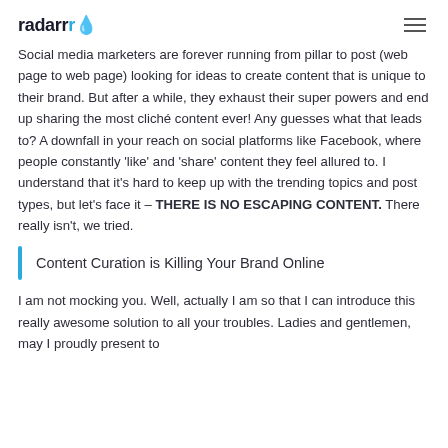radarr
Social media marketers are forever running from pillar to post (web page to web page) looking for ideas to create content that is unique to their brand. But after a while, they exhaust their super powers and end up sharing the most cliché content ever! Any guesses what that leads to? A downfall in your reach on social platforms like Facebook, where people constantly 'like' and 'share' content they feel allured to. I understand that it's hard to keep up with the trending topics and post types, but let's face it – THERE IS NO ESCAPING CONTENT. There really isn't, we tried.
Content Curation is Killing Your Brand Online
I am not mocking you. Well, actually I am so that I can introduce this really awesome solution to all your troubles. Ladies and gentlemen, may I proudly present to